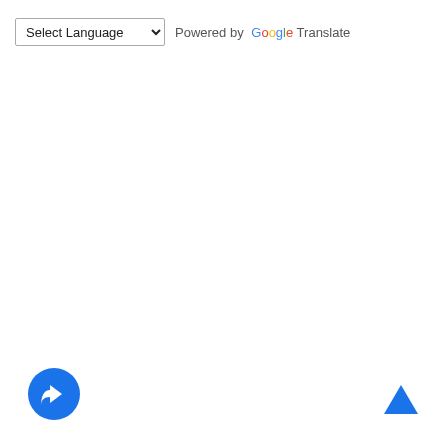[Figure (screenshot): Google Translate language selector widget with a dropdown labeled 'Select Language' and 'Powered by Google Translate' text. Below is a blue circular share/forward button icon and a blue scroll-to-top caret button in the bottom right corner.]